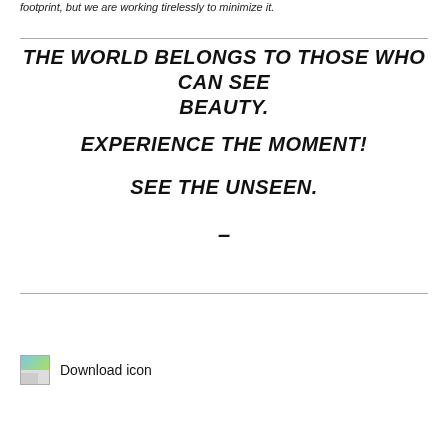footprint, but we are working tirelessly to minimize it.
THE WORLD BELONGS TO THOSE WHO CAN SEE BEAUTY.

EXPERIENCE THE MOMENT!

SEE THE UNSEEN.

–
[Figure (illustration): Download icon — small broken image placeholder with green/blue color patch]